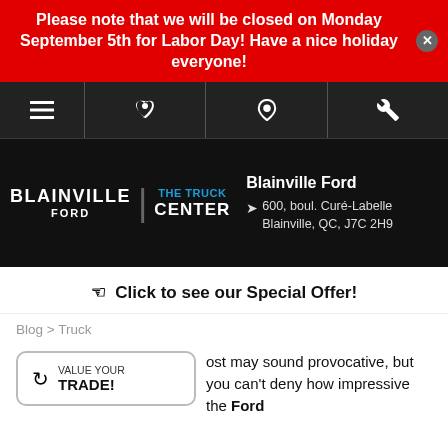Please note that we will be closed on Monday September 5th for Labor Day! Have a nice holiday everyone!
[Figure (screenshot): Navigation bar with hamburger menu, phone, location pin, and wrench icons on dark background]
[Figure (logo): Blainville Ford | The Truck Center logo with address: 600, boul. Curé-Labelle, Blainville, QC, J7C 2H9]
☛  Click to see our Special Offer!
Blog > Truck
[Figure (other): Value Your Trade widget button]
ost may sound provocative, but you can't deny how impressive the Ford